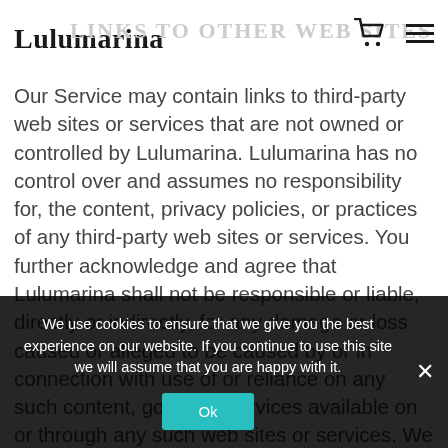Lulumarina | LINKS TO OTHER WEB SITES
Our Service may contain links to third-party web sites or services that are not owned or controlled by Lulumarina. Lulumarina has no control over and assumes no responsibility for, the content, privacy policies, or practices of any third-party web sites or services. You further acknowledge and agree that Lulumarina shall not be responsible or liable, directly or indirectly, for any damage or loss caused or alleged to be caused by or in connection with use of or reliance on any such content, goods or services available on or through any such web sites or services. We strongly advise you to read the terms and conditions and privacy policies of any third-party web sites or services that you visit.
We use cookies to ensure that we give you the best experience on our website. If you continue to use this site we will assume that you are happy with it.